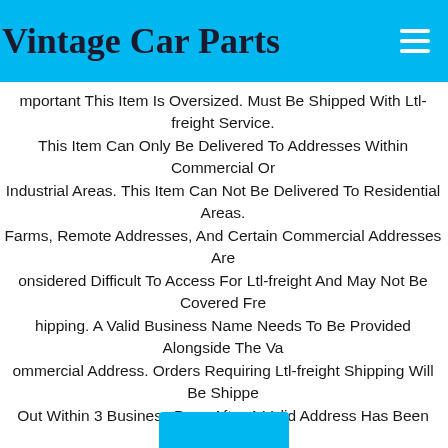Vintage Car Parts
Important This Item Is Oversized. Must Be Shipped With Ltl-freight Service. This Item Can Only Be Delivered To Addresses Within Commercial Or Industrial Areas. This Item Can Not Be Delivered To Residential Areas. Farms, Remote Addresses, And Certain Commercial Addresses Are Considered Difficult To Access For Ltl-freight And May Not Be Covered Free Shipping. A Valid Business Name Needs To Be Provided Alongside The Valid Commercial Address. Orders Requiring Ltl-freight Shipping Will Be Shipped Out Within 3 Business Days After A Valid Address Has Been Provided And Verified. Ltl-freight Delivery Personnel Are Not Available For Additional Requests During Delivery. Any Changes After An Order Has Been Shipped Are Not Available. For More Information, Please Click On "show More".